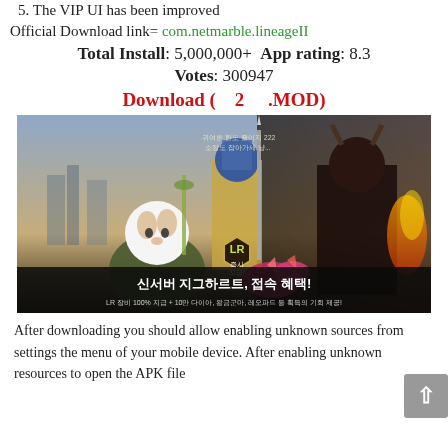5. The VIP UI has been improved
Official Download link= com.netmarble.lineageII
Total Install: 5,000,000+  App rating: 8.3
Votes: 300947
Download (  2  .MOD)
[Figure (photo): Game promotional banner for Lineage II mobile showing armored characters, a cat warrior, crystals, and Korean text reading '신서버 지그하르트, 접속 혜택!' with LR logo and Korean promotional text]
After downloading you should allow enabling unknown sources from settings the menu of your mobile device. After enabling unknown resources to open the APK file